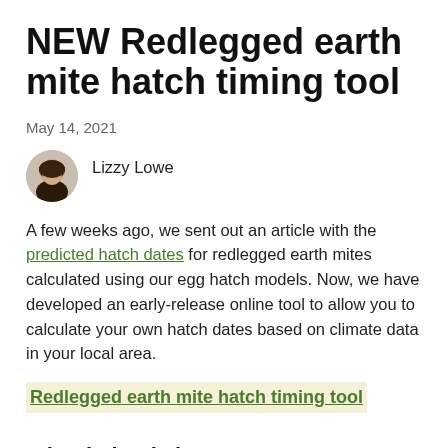NEW Redlegged earth mite hatch timing tool
May 14, 2021
Lizzy Lowe
A few weeks ago, we sent out an article with the predicted hatch dates for redlegged earth mites calculated using our egg hatch models. Now, we have developed an early-release online tool to allow you to calculate your own hatch dates based on climate data in your local area.
Redlegged earth mite hatch timing tool
Why timing is important